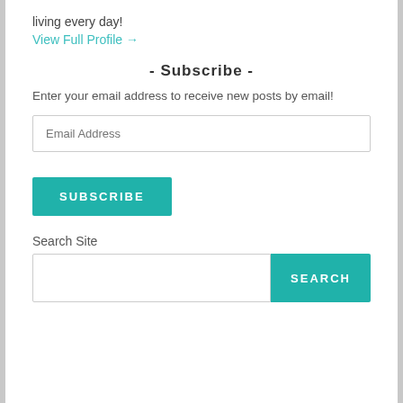living every day!
View Full Profile →
- Subscribe -
Enter your email address to receive new posts by email!
Email Address
SUBSCRIBE
Search Site
SEARCH